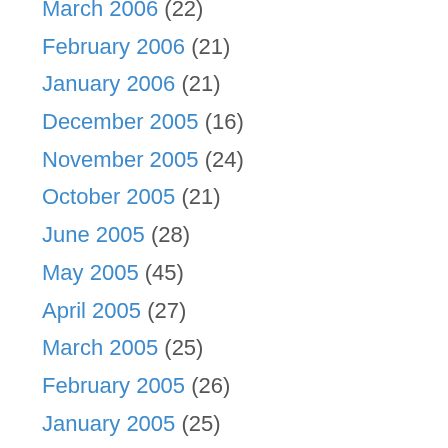March 2006 (22)
February 2006 (21)
January 2006 (21)
December 2005 (16)
November 2005 (24)
October 2005 (21)
June 2005 (28)
May 2005 (45)
April 2005 (27)
March 2005 (25)
February 2005 (26)
January 2005 (25)
December 2004 (28)
November 2004 (23)
October 2004 (37)